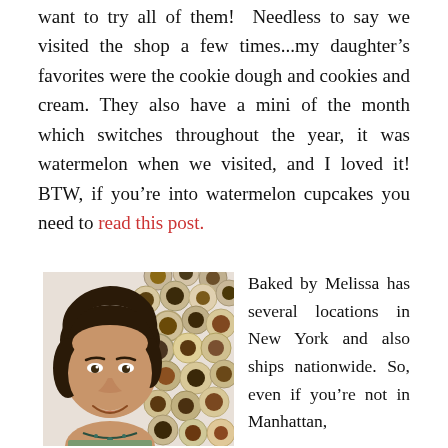want to try all of them!  Needless to say we visited the shop a few times...my daughter's favorites were the cookie dough and cookies and cream. They also have a mini of the month which switches throughout the year, it was watermelon when we visited, and I loved it! BTW, if you're into watermelon cupcakes you need to read this post.
[Figure (photo): Young girl smiling in front of a wall covered with colorful round cupcake displays]
Baked by Melissa has several locations in New York and also ships nationwide. So, even if you're not in Manhattan,